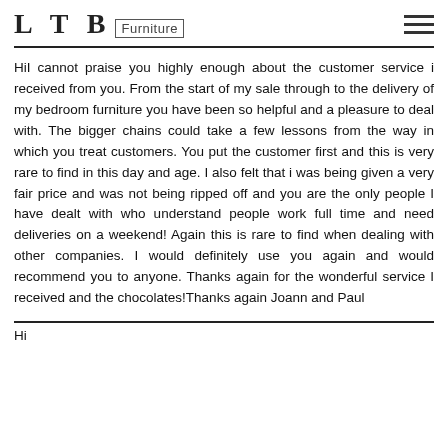LTB Furniture
HiI cannot praise you highly enough about the customer service i received from you. From the start of my sale through to the delivery of my bedroom furniture you have been so helpful and a pleasure to deal with. The bigger chains could take a few lessons from the way in which you treat customers. You put the customer first and this is very rare to find in this day and age. I also felt that i was being given a very fair price and was not being ripped off and you are the only people I have dealt with who understand people work full time and need deliveries on a weekend! Again this is rare to find when dealing with other companies. I would definitely use you again and would recommend you to anyone. Thanks again for the wonderful service I received and the chocolates!Thanks again Joann and Paul
Hi